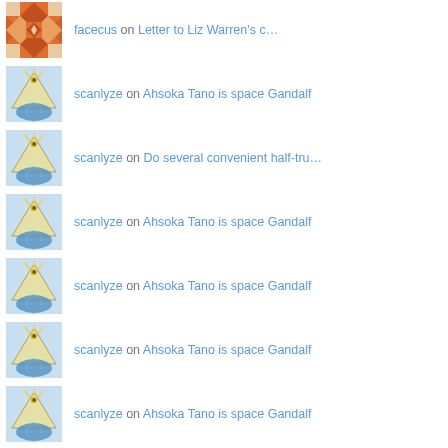facecus on Letter to Liz Warren's c…
scanlyze on Ahsoka Tano is space Gandalf
scanlyze on Do several convenient half-tru…
scanlyze on Ahsoka Tano is space Gandalf
scanlyze on Ahsoka Tano is space Gandalf
scanlyze on Ahsoka Tano is space Gandalf
scanlyze on Ahsoka Tano is space Gandalf
scanlyze on The Universal Appeal of Black…